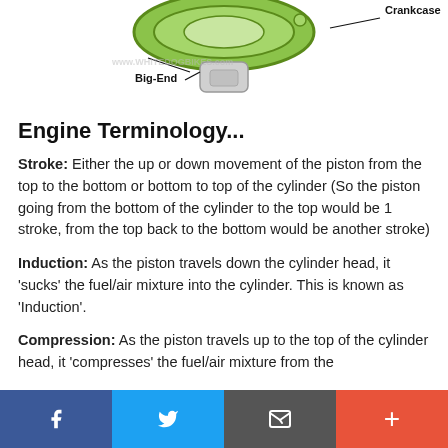[Figure (illustration): Partial engine diagram showing Big-End and Crankcase labels with watermark www.WHITEDOGBIKES.com. Green oval component visible at top center.]
Engine Terminology...
Stroke: Either the up or down movement of the piston from the top to the bottom or bottom to top of the cylinder (So the piston going from the bottom of the cylinder to the top would be 1 stroke, from the top back to the bottom would be another stroke)
Induction: As the piston travels down the cylinder head, it 'sucks' the fuel/air mixture into the cylinder. This is known as 'Induction'.
Compression: As the piston travels up to the top of the cylinder head, it 'compresses' the fuel/air mixture from the
f  [Twitter bird]  [envelope]  +